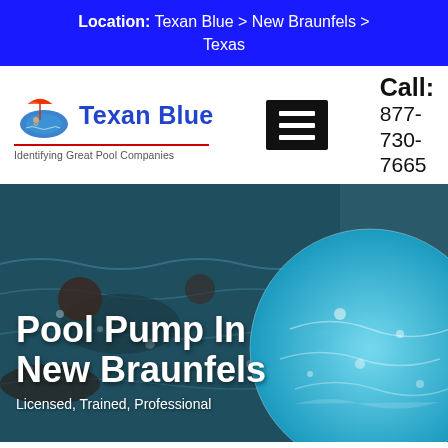Location: Texan Blue > New Braunfels > Texas
[Figure (logo): Texan Blue logo with pool umbrella icon and tagline 'Identifying Great Pool Companies']
[Figure (other): Hamburger menu icon (three white lines on blue background)]
Call: 877-730-7665
[Figure (photo): Hero background photo of people swimming in a pool, with a circular crop of clear blue pool water on the right side]
Pool Pump In New Braunfels
Licensed, Trained, Professional